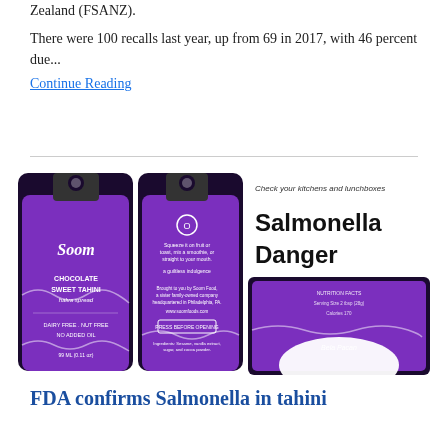Zealand (FSANZ).
There were 100 recalls last year, up from 69 in 2017, with 46 percent due...
Continue Reading
[Figure (photo): Composite image showing two purple Soom Chocolate Sweet Tahini Halva Spread pouches on the left, text 'Check your kitchens and lunchboxes' and 'Salmonella Danger' in the center-right, and a third purple Soom pouch opened at the bottom right, indicating a food safety recall.]
FDA confirms Salmonella in tahini